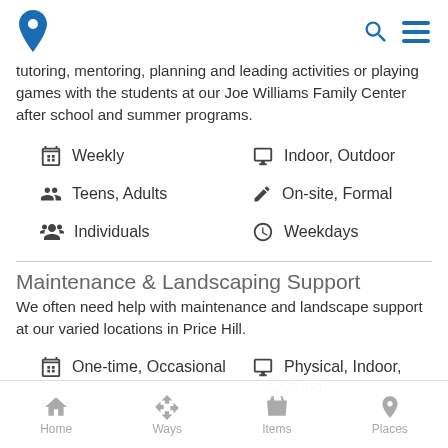Header with logo, search, and menu icons
tutoring, mentoring, planning and leading activities or playing games with the students at our Joe Williams Family Center after school and summer programs.
Weekly
Indoor, Outdoor
Teens, Adults
On-site, Formal
Individuals
Weekdays
Maintenance & Landscaping Support
We often need help with maintenance and landscape support at our varied locations in Price Hill.
One-time, Occasional
Physical, Indoor, Outdoor
Home  Ways  Items  Places